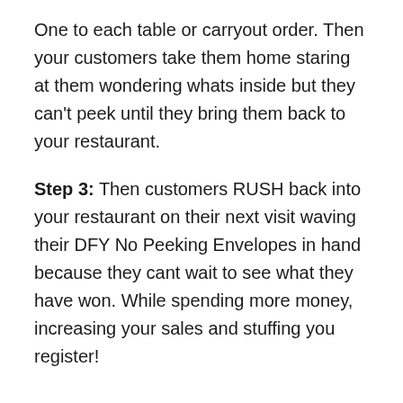One to each table or carryout order. Then your customers take them home staring at them wondering whats inside but they can't peek until they bring them back to your restaurant.
Step 3: Then customers RUSH back into your restaurant on their next visit waving their DFY No Peeking Envelopes in hand because they cant wait to see what they have won. While spending more money, increasing your sales and stuffing you register!